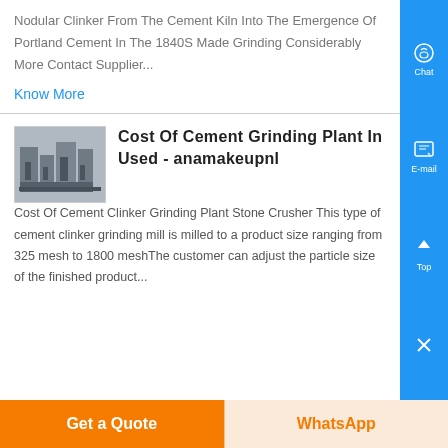Nodular Clinker From The Cement Kiln Into The Emergence Of Portland Cement In The 1840S Made Grinding Considerably More Contact Supplier...
Know More
Cost Of Cement Grinding Plant In Used - anamakeupnl
[Figure (photo): Industrial cement grinding plant machinery, grey metal equipment]
Cost Of Cement Clinker Grinding Plant Stone Crusher This type of cement clinker grinding mill is milled to a product size ranging from 325 mesh to 1800 meshThe customer can adjust the particle size of the finished product...